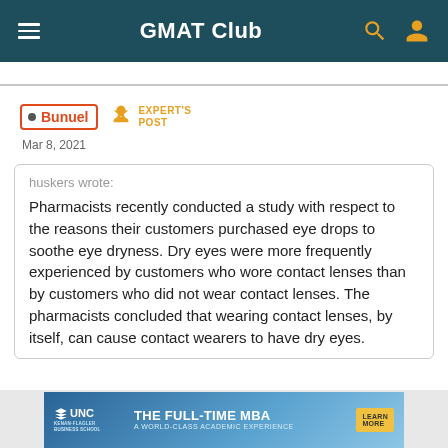GMAT Club
Bunuel  EXPERT'S POST
Mar 8, 2021
huskers wrote:
Pharmacists recently conducted a study with respect to the reasons their customers purchased eye drops to soothe eye dryness. Dry eyes were more frequently experienced by customers who wore contact lenses than by customers who did not wear contact lenses. The pharmacists concluded that wearing contact lenses, by itself, can cause contact wearers to have dry eyes.
[Figure (illustration): UNC Kenan-Flagler Business School advertisement banner: THE FULL-TIME MBA A WORLD-CLASS ACADEMIC EXPERIENCE LEARN MORE]